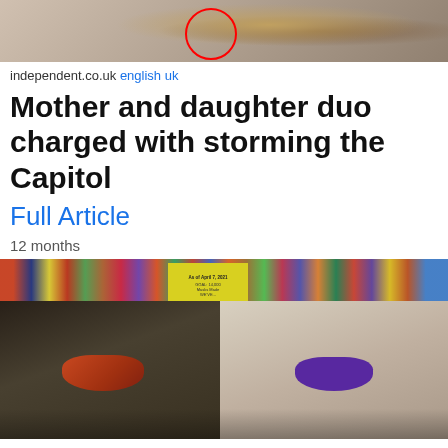[Figure (photo): Top portion of news article showing a photo from inside the US Capitol, with a red circle highlighting a figure]
independent.co.uk english uk
Mother and daughter duo charged with storming the Capitol
Full Article
12 months
[Figure (photo): Two women wearing face masks posing together in front of fabric/textile display shelves in a store]
timminspress.com english ca
Mother and daughter duo raise